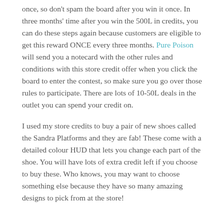once, so don't spam the board after you win it once. In three months' time after you win the 500L in credits, you can do these steps again because customers are eligible to get this reward ONCE every three months. Pure Poison will send you a notecard with the other rules and conditions with this store credit offer when you click the board to enter the contest, so make sure you go over those rules to participate. There are lots of 10-50L deals in the outlet you can spend your credit on.
I used my store credits to buy a pair of new shoes called the Sandra Platforms and they are fab! These come with a detailed colour HUD that lets you change each part of the shoe. You will have lots of extra credit left if you choose to buy these. Who knows, you may want to choose something else because they have so many amazing designs to pick from at the store!